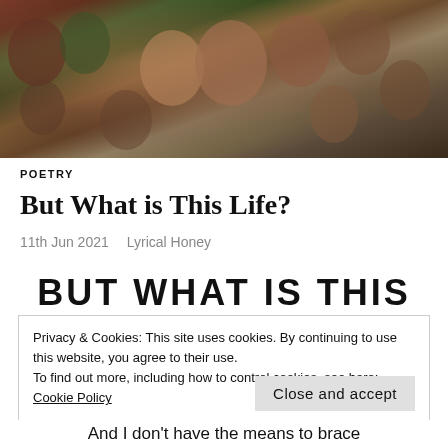[Figure (photo): Group photo of a diverse crowd of people, appears to be a TV show cast or promotional image, looking serious/concerned]
POETRY
But What is This Life?
11th Jun 2021   Lyrical Honey
BUT WHAT IS THIS
Privacy & Cookies: This site uses cookies. By continuing to use this website, you agree to their use.
To find out more, including how to control cookies, see here: Cookie Policy
Close and accept
And I don't have the means to brace